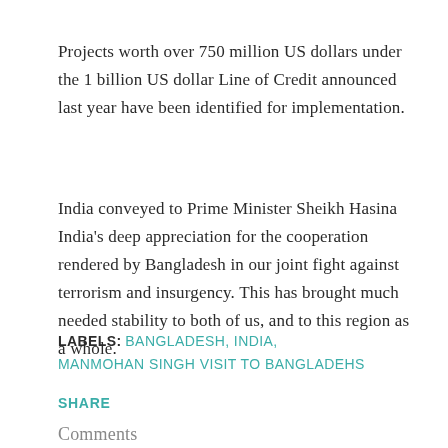Projects worth over 750 million US dollars under the 1 billion US dollar Line of Credit announced last year have been identified for implementation.
India conveyed to Prime Minister Sheikh Hasina India's deep appreciation for the cooperation rendered by Bangladesh in our joint fight against terrorism and insurgency. This has brought much needed stability to both of us, and to this region as a whole.
LABELS: BANGLADESH, INDIA, MANMOHAN SINGH VISIT TO BANGLADEHS
SHARE
Comments